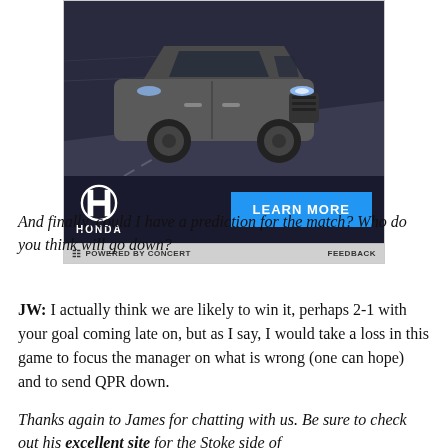[Figure (photo): Honda SUV advertisement showing a dark grey Honda CR-V driving on a road, with Honda logo, LEARN MORE button, and POWERED BY CONCERT / FEEDBACK footer bar.]
And finally, could I have a prediction for the match? Who do you think will go down?
JW: I actually think we are likely to win it, perhaps 2-1 with your goal coming late on, but as I say, I would take a loss in this game to focus the manager on what is wrong (one can hope) and to send QPR down.
Thanks again to James for chatting with us. Be sure to check out his excellent site for the Stoke side of